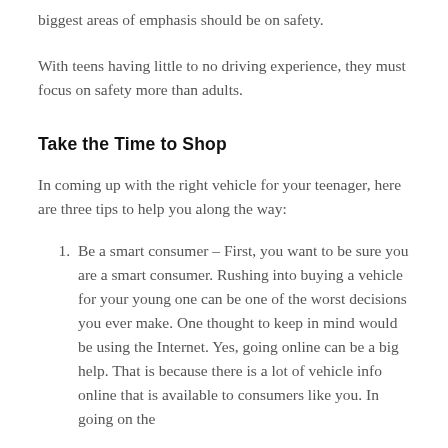biggest areas of emphasis should be on safety.
With teens having little to no driving experience, they must focus on safety more than adults.
Take the Time to Shop
In coming up with the right vehicle for your teenager, here are three tips to help you along the way:
Be a smart consumer – First, you want to be sure you are a smart consumer. Rushing into buying a vehicle for your young one can be one of the worst decisions you ever make. One thought to keep in mind would be using the Internet. Yes, going online can be a big help. That is because there is a lot of vehicle info online that is available to consumers like you. In going on the Internet, you could find a vehicle, prices and more.